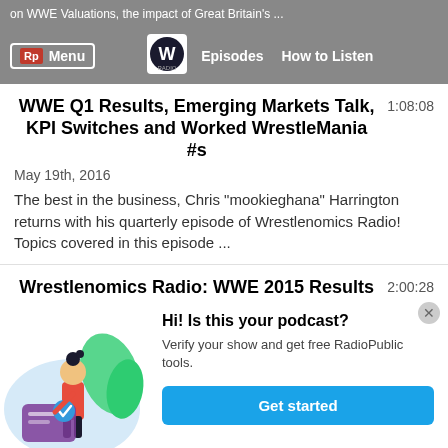on WWE Valuations, the impact of Great Britain's ...
WWE Q1 Results, Emerging Markets Talk, KPI Switches and Worked WrestleMania #s
1:08:08
May 19th, 2016
The best in the business, Chris "mookieghana" Harrington returns with his quarterly episode of Wrestlenomics Radio! Topics covered in this episode ...
Wrestlenomics Radio: WWE 2015 Results and 2016 Forecasting
2:00:28
[Figure (illustration): Illustration of a woman standing next to a large checkmark on a card, with green leaves in background, on a light blue circular background]
Hi! Is this your podcast? Verify your show and get free RadioPublic tools. Get started